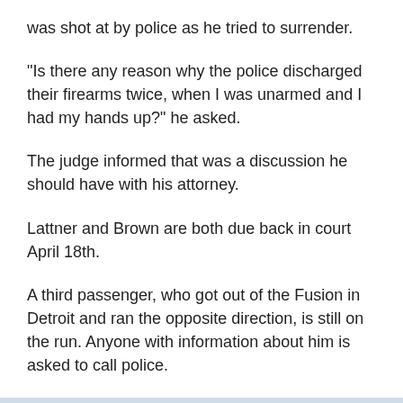was shot at by police as he tried to surrender.
"Is there any reason why the police discharged their firearms twice, when I was unarmed and I had my hands up?" he asked.
The judge informed that was a discussion he should have with his attorney.
Lattner and Brown are both due back in court April 18th.
A third passenger, who got out of the Fusion in Detroit and ran the opposite direction, is still on the run. Anyone with information about him is asked to call police.